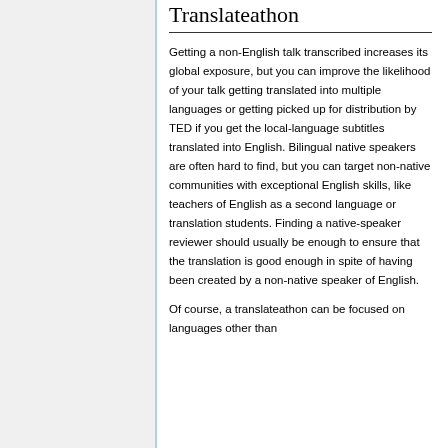Translateathon
Getting a non-English talk transcribed increases its global exposure, but you can improve the likelihood of your talk getting translated into multiple languages or getting picked up for distribution by TED if you get the local-language subtitles translated into English. Bilingual native speakers are often hard to find, but you can target non-native communities with exceptional English skills, like teachers of English as a second language or translation students. Finding a native-speaker reviewer should usually be enough to ensure that the translation is good enough in spite of having been created by a non-native speaker of English.
Of course, a translateathon can be focused on languages other than